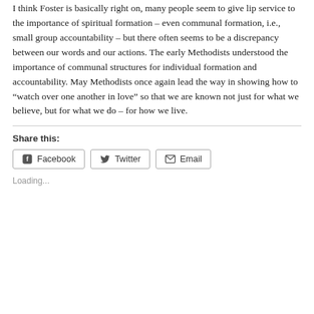I think Foster is basically right on, many people seem to give lip service to the importance of spiritual formation – even communal formation, i.e., small group accountability – but there often seems to be a discrepancy between our words and our actions. The early Methodists understood the importance of communal structures for individual formation and accountability. May Methodists once again lead the way in showing how to “watch over one another in love” so that we are known not just for what we believe, but for what we do – for how we live.
Share this:
Facebook  Twitter  Email
Loading...